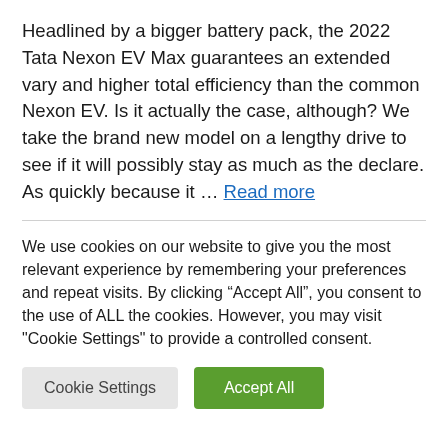Headlined by a bigger battery pack, the 2022 Tata Nexon EV Max guarantees an extended vary and higher total efficiency than the common Nexon EV. Is it actually the case, although? We take the brand new model on a lengthy drive to see if it will possibly stay as much as the declare. As quickly because it … Read more
We use cookies on our website to give you the most relevant experience by remembering your preferences and repeat visits. By clicking "Accept All", you consent to the use of ALL the cookies. However, you may visit "Cookie Settings" to provide a controlled consent.